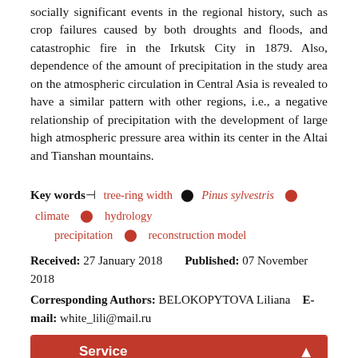socially significant events in the regional history, such as crop failures caused by both droughts and floods, and catastrophic fire in the Irkutsk City in 1879. Also, dependence of the amount of precipitation in the study area on the atmospheric circulation in Central Asia is revealed to have a similar pattern with other regions, i.e., a negative relationship of precipitation with the development of large high atmospheric pressure area within its center in the Altai and Tianshan mountains.
Key words: tree-ring width  Pinus sylvestris  climate  hydrology  precipitation  reconstruction model
Received: 27 January 2018    Published: 07 November 2018
Corresponding Authors: BELOKOPYTOVA Liliana  E-mail: white_lili@mail.ru
| Service |
| --- |
| E-mail this article |
| Add to my bookshelf |
| Add to citation manager |
| E-mail Alert |